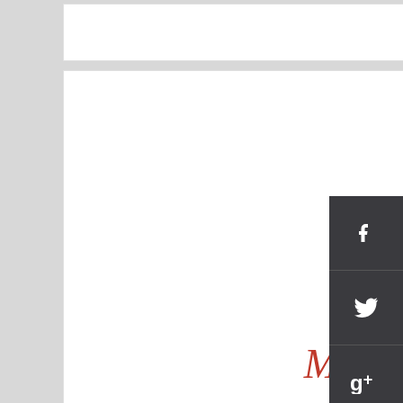[Figure (logo): Make It Shabby brand logo with a red outline house icon above cursive script text 'Make It Shabby' and tagline 'MAKING SHABBY CHIC' in red]
[Figure (infographic): Dark gray social media sidebar with icons for Facebook, Twitter, Google+, Pinterest, Web/Globe, and Email]